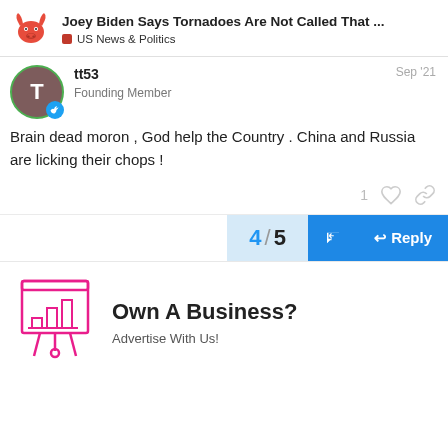Joey Biden Says Tornadoes Are Not Called That ... | US News & Politics
tt53
Founding Member
Sep '21
Brain dead moron , God help the Country . China and Russia are licking their chops !
4 / 5
[Figure (illustration): Magenta outline icon of a presentation board with bar chart]
Own A Business?
Advertise With Us!